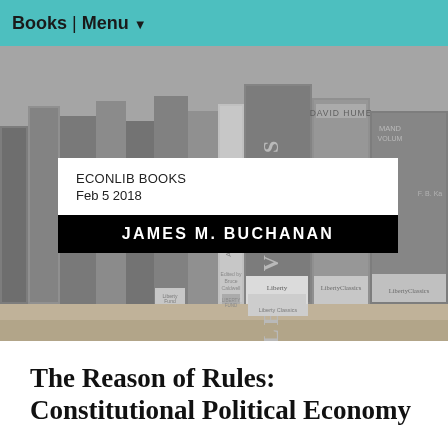Books | Menu
[Figure (photo): Grayscale photograph of a bookshelf filled with various books including titles by David Hume and others, with overlaid text card showing ECONLIB BOOKS Feb 5 2018 and JAMES M. BUCHANAN]
The Reason of Rules: Constitutional Political Economy